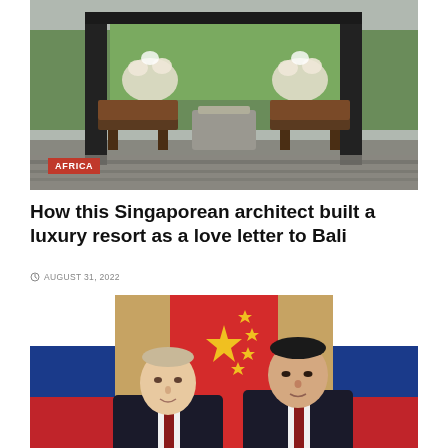[Figure (photo): Outdoor pavilion/gazebo structure at a luxury resort with wooden benches and white floral decorations, lush greenery in background]
AFRICA
How this Singaporean architect built a luxury resort as a love letter to Bali
AUGUST 31, 2022
[Figure (photo): Vladimir Putin and Xi Jinping standing together in front of Russian and Chinese flags, both wearing dark suits]